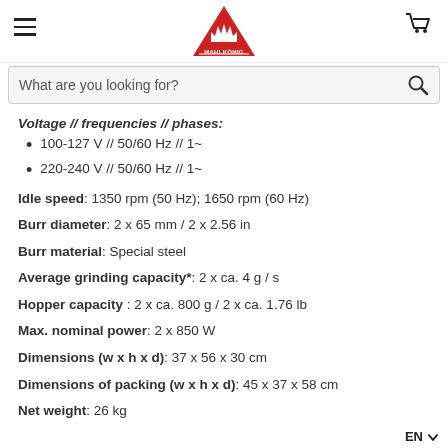Mahlkönig logo, hamburger menu, cart icon
What are you looking for? [search bar]
Voltage // frequencies // phases:
100-127 V // 50/60 Hz // 1~
220-240 V // 50/60 Hz // 1~
Idle speed: 1350 rpm (50 Hz); 1650 rpm (60 Hz)
Burr diameter: 2 x 65 mm / 2 x 2.56 in
Burr material: Special steel
Average grinding capacity*: 2 x ca. 4 g / s
Hopper capacity : 2 x ca. 800 g / 2 x ca. 1.76 lb
Max. nominal power: 2 x 850 W
Dimensions (w x h x d): 37 x 56 x 30 cm
Dimensions of packing (w x h x d): 45 x 37 x 58 cm
Net weight: 26 kg